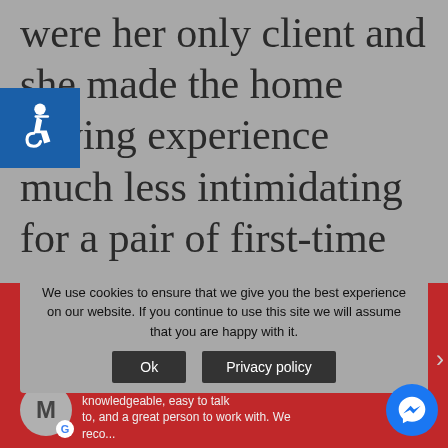were her only client and she made the home buying experience much less intimidating for a pair of first-time homeowners. We never questioned whether she had our interests at heart. We can't think of a
[Figure (other): Accessibility icon (wheelchair symbol) in blue square]
[Figure (screenshot): Red banner with cookie consent overlay showing text 'We use cookies to ensure that we give you the best experience on our website. If you continue to use this site we will assume that you are happy with it.' with Ok and Privacy policy buttons. Below is a review card with reviewer avatar, name 'Tammy', VERIFIED tag, and review snippet about being knowledgeable, easy to talk to, and great to work with. A Messenger chat bubble is in the bottom right corner.]